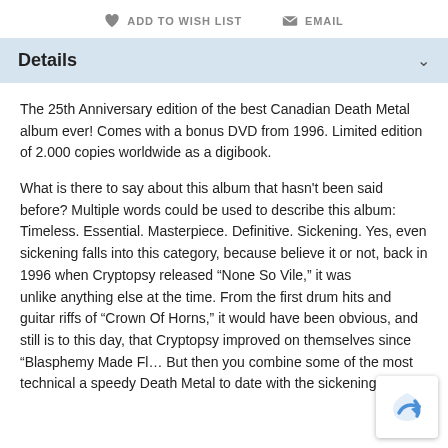ADD TO WISH LIST   EMAIL
Details
The 25th Anniversary edition of the best Canadian Death Metal album ever! Comes with a bonus DVD from 1996. Limited edition of 2.000 copies worldwide as a digibook.
What is there to say about this album that hasn't been said before? Multiple words could be used to describe this album: Timeless. Essential. Masterpiece. Definitive. Sickening. Yes, even sickening falls into this category, because believe it or not, back in 1996 when Cryptopsy released “None So Vile,” it was unlike anything else at the time. From the first drum hits and guitar riffs of “Crown Of Horns,” it would have been obvious, and still is to this day, that Cryptopsy improved on themselves since “Blasphemy Made Fl… But then you combine some of the most technical and speedy Death Metal to date with the sickening